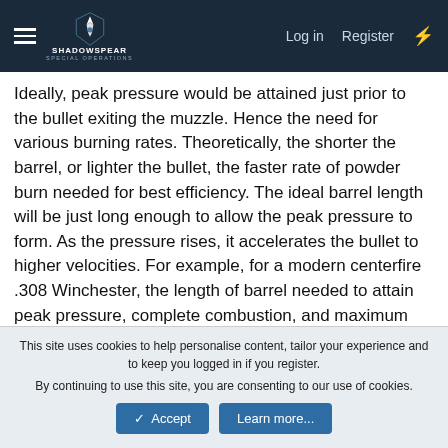ShadowSpear Special Operations — Log in | Register
Ideally, peak pressure would be attained just prior to the bullet exiting the muzzle. Hence the need for various burning rates. Theoretically, the shorter the barrel, or lighter the bullet, the faster rate of powder burn needed for best efficiency. The ideal barrel length will be just long enough to allow the peak pressure to form. As the pressure rises, it accelerates the bullet to higher velocities. For example, for a modern centerfire .308 Winchester, the length of barrel needed to attain peak pressure, complete combustion, and maximum muzzle velocity is between 30 and 36 inches. However, such a length is impractical and unwieldy for common use. Therefore, some potential velocity is sacrificed as practical compromise for ease of handling and efficiency of design. This is why there is the noticeable muzzle flash of the remaining powder combusting after the bullet exits
This site uses cookies to help personalise content, tailor your experience and to keep you logged in if you register.
By continuing to use this site, you are consenting to our use of cookies.